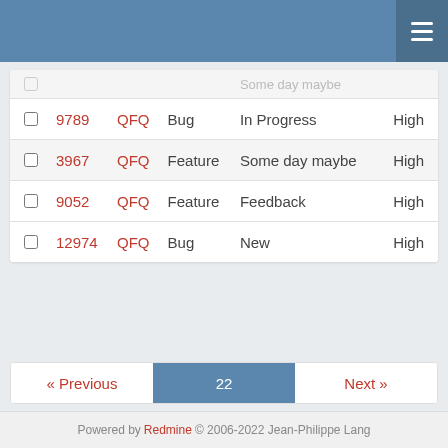Navigation header bar with hamburger menu
|  | # | Project | Tracker | Status | Priority |
| --- | --- | --- | --- | --- | --- |
|  | 9789 | QFQ | Bug | In Progress | High |
|  | 3967 | QFQ | Feature | Some day maybe | High |
|  | 9052 | QFQ | Feature | Feedback | High |
|  | 12974 | QFQ | Bug | New | High |
« Previous  22  Next »
(526-550/573) Per page: 25, 50, 100
Also available in: Atom | CSV | PDF
Powered by Redmine © 2006-2022 Jean-Philippe Lang